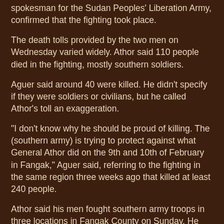spokesman for the Sudan Peoples' Liberation Army, confirmed that the fighting took place.
The death tolls provided by the two men on Wednesday varied widely. Athor said 110 people died in the fighting, mostly southern soldiers.
Aguer said around 40 were killed. He didn't specify if they were soldiers or civilians, but he called Athor's toll an exaggeration.
"I don't know why he should be proud of killing. The (southern army) is trying to protect against what General Athor did on the 9th and 10th of February in Fangak," Aguer said, referring to the fighting in the same region three weeks ago that killed at least 240 people.
Athor said his men fought southern army troops in three locations in Fangak County on Sunday. He said his forces captured 90 weapons. The fighting has stopped, he said. (read more)